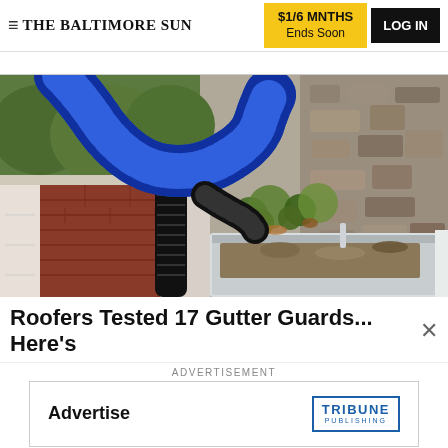THE BALTIMORE SUN | $1/6 MNTHS Ends Soon | LOG IN
[Figure (photo): A blue corrugated vacuum hose being used to clean debris and leaves from a clogged residential gutter along a stone wall exterior]
Roofers Tested 17 Gutter Guards... Here's
ADVERTISEMENT
[Figure (other): Advertisement box with 'Advertise' text on left and Tribune Publishing logo on right]